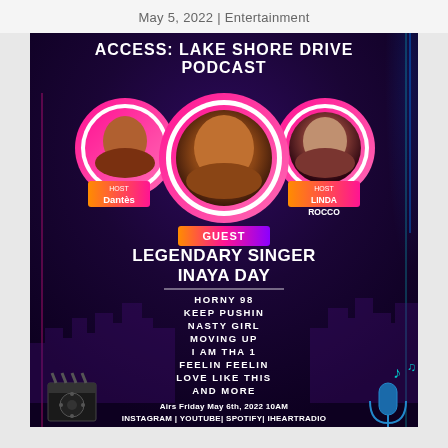May 5, 2022 | Entertainment
[Figure (infographic): ACCESS: LAKE SHORE DRIVE PODCAST promotional poster with three circular photo frames showing Host Dantès (left), Guest Inaya Day (center), Host Linda Rocco (right) on a dark purple background with city skyline silhouette, listing songs: HORNY 98, KEEP PUSHIN, NASTY GIRL, MOVING UP, I AM THA 1, FEELIN FEELIN, LOVE LIKE THIS, AND MORE. Airs Friday May 6th, 2022 10AM. INSTAGRAM | YOUTUBE| SPOTIFY| IHEARTRADIO]